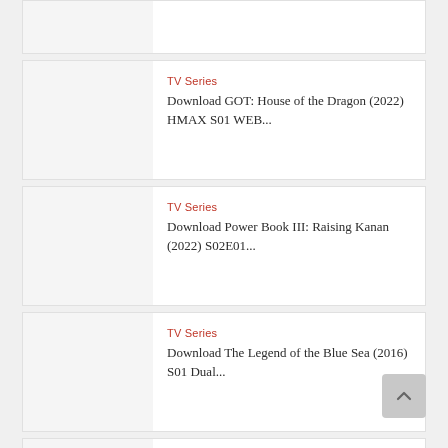TV Series
Download GOT: House of the Dragon (2022) HMAX S01 WEB...
TV Series
Download Power Book III: Raising Kanan (2022) S02E01...
TV Series
Download The Legend of the Blue Sea (2016) S01 Dual...
TV Series